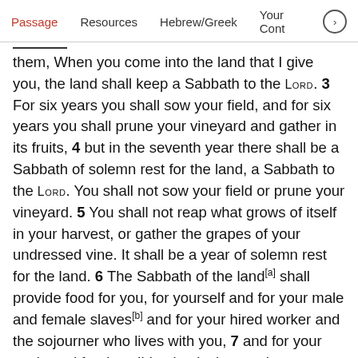Passage  Resources  Hebrew/Greek  Your Cont >
them, When you come into the land that I give you, the land shall keep a Sabbath to the LORD. 3 For six years you shall sow your field, and for six years you shall prune your vineyard and gather in its fruits, 4 but in the seventh year there shall be a Sabbath of solemn rest for the land, a Sabbath to the LORD. You shall not sow your field or prune your vineyard. 5 You shall not reap what grows of itself in your harvest, or gather the grapes of your undressed vine. It shall be a year of solemn rest for the land. 6 The Sabbath of the land[a] shall provide food for you, for yourself and for your male and female slaves[b] and for your hired worker and the sojourner who lives with you, 7 and for your cattle and for the wild animals that are in your land: all its yield shall be for food.